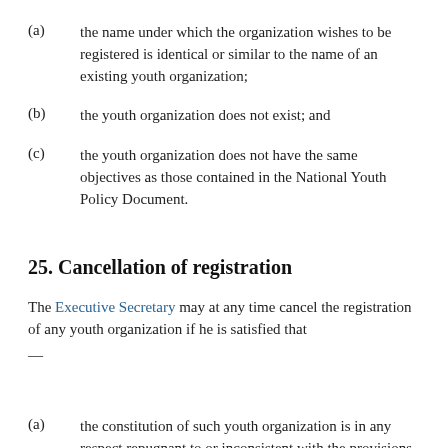(a) the name under which the organization wishes to be registered is identical or similar to the name of an existing youth organization;
(b) the youth organization does not exist; and
(c) the youth organization does not have the same objectives as those contained in the National Youth Policy Document.
25. Cancellation of registration
The Executive Secretary may at any time cancel the registration of any youth organization if he is satisfied that —
(a) the constitution of such youth organization is in any respect repugnant to or inconsistent with the provisions of any law for the time being in force in